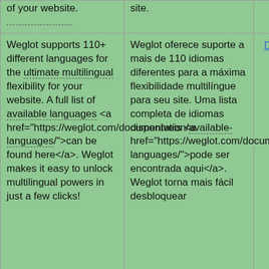| of your website. | site. |  |
| Weglot supports 110+ different languages for the ultimate multilingual flexibility for your website. A full list of available languages <a href="https://weglot.com/documentation/available-languages/">can be found here</a>. Weglot makes it easy to unlock multilingual powers in just a few clicks! | Weglot oferece suporte a mais de 110 idiomas diferentes para a máxima flexibilidade multilíngue para seu site. Uma lista completa de idiomas disponíveis <a href="https://weglot.com/documentation/available-languages/">pode ser encontrada aqui</a>. Weglot torna mais fácil desbloquear | Details |